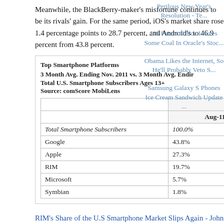Meanwhile, the BlackBerry-maker's misfortune continues to be its rivals' gain. For the same period, iOS's market share rose 1.4 percentage points to 28.7 percent, and Android's to 46.9 percent from 43.8 percent.
|  | Share (%) of Smartphone Subscribers |  |
| --- | --- | --- |
| Total Smartphone Subscribers | 100.0% | 100.0% |
| Google | 43.8% | 46.9% |
| Apple | 27.3% | 28.7% |
| RIM | 19.7% | 16.6% |
| Microsoft | 5.7% | 5.2% |
| Symbian | 1.8% | 1.5% |
RIM's Share of the U.S Smartphone Market Slips Again - John Paczkowski - Mobile - AllThingsD
POSTED BY PBOKELLY AT 9:17 AM
NO COMMENTS:
Perilous New Year's Resolution - Te...
US Patent Office Leaves Some Coal In Oracle's Stoc...
Obama Likes the Internet, So He'll Probably Veto S...
Samsung Galaxy S Phones Ice Cream Sandwich Update ...